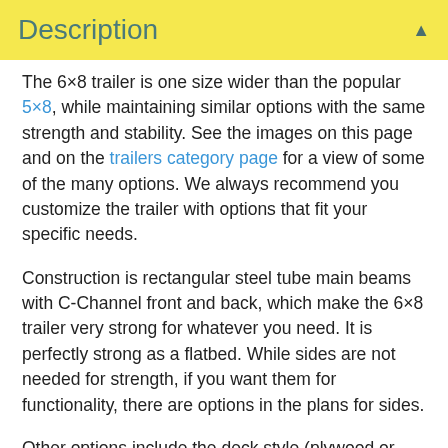Description
The 6×8 trailer is one size wider than the popular 5×8, while maintaining similar options with the same strength and stability.  See the images on this page and on the trailers category page for a view of some of the many options.  We always recommend you customize the trailer with options that fit your specific needs.
Construction is rectangular steel tube main beams with C-Channel front and back, which make the 6×8 trailer very strong for whatever you need.  It is perfectly strong as a flatbed.  While sides are not needed for strength, if you want them for functionality, there are options in the plans for sides.
Other options include the deck style (plywood or dimensional lumber), a tailgate (or not), a tongue mounted toolbox, ramps, and more.  Build it the way